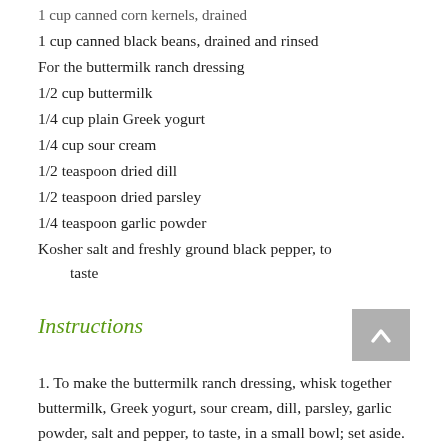1 cup canned corn kernels, drained
1 cup canned black beans, drained and rinsed
For the buttermilk ranch dressing
1/2 cup buttermilk
1/4 cup plain Greek yogurt
1/4 cup sour cream
1/2 teaspoon dried dill
1/2 teaspoon dried parsley
1/4 teaspoon garlic powder
Kosher salt and freshly ground black pepper, to taste
Instructions
1. To make the buttermilk ranch dressing, whisk together buttermilk, Greek yogurt, sour cream, dill, parsley, garlic powder, salt and pepper, to taste, in a small bowl; set aside.